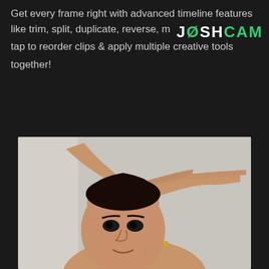Get every frame right with advanced timeline features like trim, split, duplicate, reverse, m... tap to reorder clips & apply multiple creative tools together!
[Figure (logo): JOSHCAM logo with white and green text on dark background]
[Figure (photo): A person with short dark hair resting their hand on their forehead, looking at the camera with a slight smile, against a light gray background]